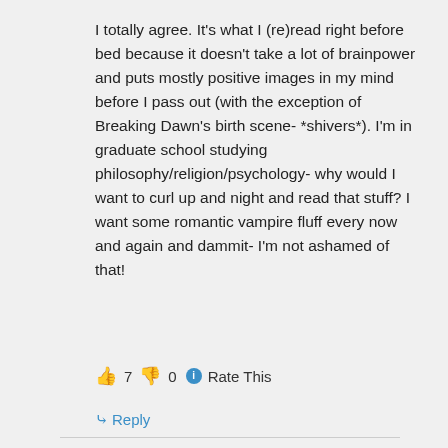I totally agree. It's what I (re)read right before bed because it doesn't take a lot of brainpower and puts mostly positive images in my mind before I pass out (with the exception of Breaking Dawn's birth scene- *shivers*). I'm in graduate school studying philosophy/religion/psychology- why would I want to curl up and night and read that stuff? I want some romantic vampire fluff every now and again and dammit- I'm not ashamed of that!
👍 7 👎 0 ℹ Rate This
↳ Reply